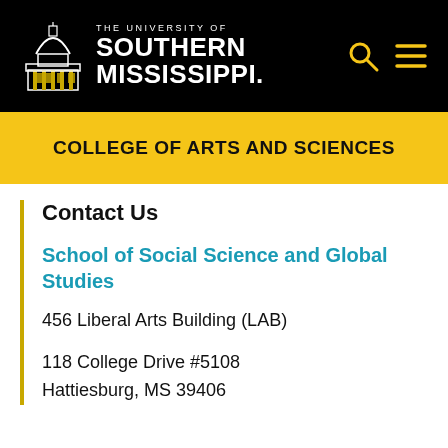[Figure (logo): University of Southern Mississippi logo with dome building illustration and white text on black background]
COLLEGE OF ARTS AND SCIENCES
Contact Us
School of Social Science and Global Studies
456 Liberal Arts Building (LAB)
118 College Drive #5108
Hattiesburg, MS 39406